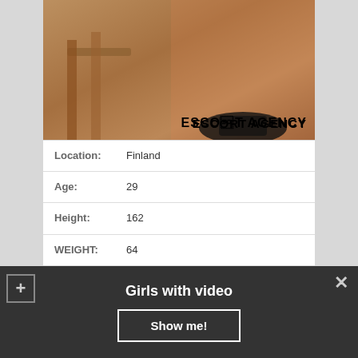[Figure (photo): Partial body photo of a person with ESCORT AGENCY text overlay]
| Field | Value |
| --- | --- |
| Location: | Finland |
| Age: | 29 |
| Height: | 162 |
| WEIGHT: | 64 |
| Time to call: | 00:00 – 24:00 |
| NIGHT: | 470$ |
Girls with video
Show me!